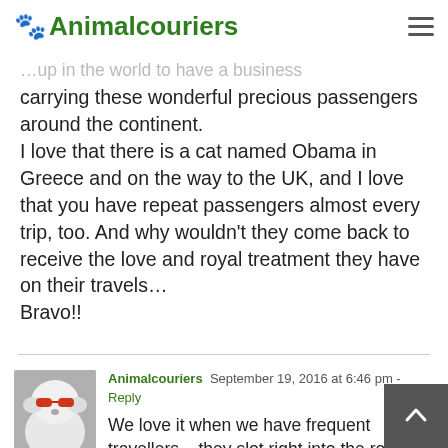Animalcouriers
carrying these wonderful precious passengers around the continent.
I love that there is a cat named Obama in Greece and on the way to the UK, and I love that you have repeat passengers almost every trip, too. And why wouldn't they come back to receive the love and royal treatment they have on their travels…
Bravo!!
Animalcouriers  September 19, 2016 at 6:46 pm - Reply
We love it when we have frequent travellers – they slot right into the routine and enjoy themselves from the start. Fun to get to know them